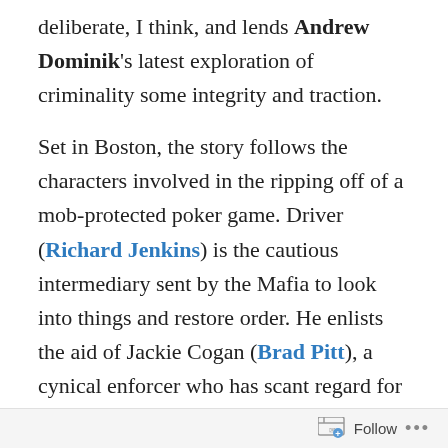deliberate, I think, and lends Andrew Dominik's latest exploration of criminality some integrity and traction.
Set in Boston, the story follows the characters involved in the ripping off of a mob-protected poker game. Driver (Richard Jenkins) is the cautious intermediary sent by the Mafia to look into things and restore order. He enlists the aid of Jackie Cogan (Brad Pitt), a cynical enforcer who has scant regard for the politicians fighting out the 2008 election that is the movie's backdrop. Cogan tells Driver that the game's proprietor, Markie Trattman (Ray Liotta) must necessarily be the first victim of the reprisals. Markie's innocence or guilt is irrelevant. The punters must have confidence in the game and the mob's ability to maintain security. There's a recession and illegal gambling
Follow ···